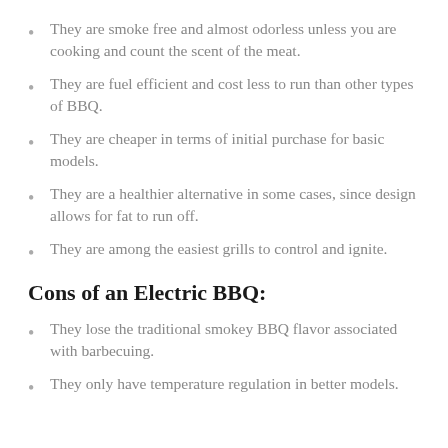They are smoke free and almost odorless unless you are cooking and count the scent of the meat.
They are fuel efficient and cost less to run than other types of BBQ.
They are cheaper in terms of initial purchase for basic models.
They are a healthier alternative in some cases, since design allows for fat to run off.
They are among the easiest grills to control and ignite.
Cons of an Electric BBQ:
They lose the traditional smokey BBQ flavor associated with barbecuing.
They only have temperature regulation in better models.